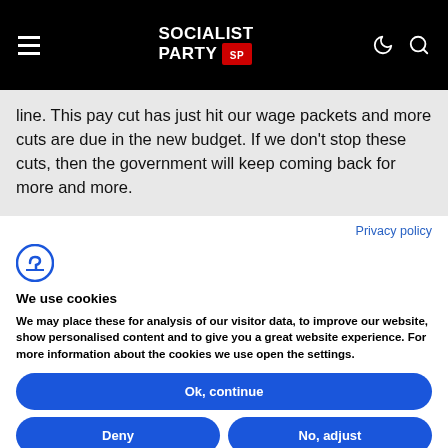Socialist Party
line. This pay cut has just hit our wage packets and more cuts are due in the new budget. If we don’t stop these cuts, then the government will keep coming back for more and more.
Privacy policy
[Figure (logo): Complianz cookie consent logo icon]
We use cookies
We may place these for analysis of our visitor data, to improve our website, show personalised content and to give you a great website experience. For more information about the cookies we use open the settings.
Ok, continue
Deny
No, adjust